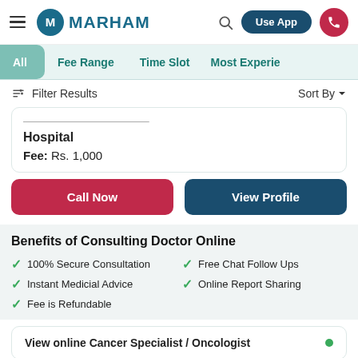[Figure (logo): Marham logo with circular M icon and MARHAM text]
MARHAM | Use App | Search | Call
All | Fee Range | Time Slot | Most Experienced
Filter Results    Sort By
Hospital
Fee: Rs. 1,000
Call Now | View Profile
Benefits of Consulting Doctor Online
100% Secure Consultation
Instant Medicial Advice
Fee is Refundable
Free Chat Follow Ups
Online Report Sharing
View online Cancer Specialist / Oncologist